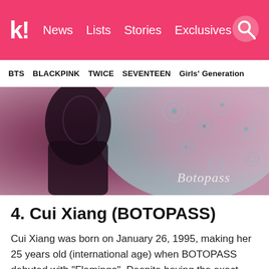k! News  Lists  Stories  Exclusives
BTS  BLACKPINK  TWICE  SEVENTEEN  Girls' Generation
[Figure (photo): Dark and pink patterned background photo with 'Botopass' watermark text in cursive at bottom right]
4. Cui Xiang (BOTOPASS)
Cui Xiang was born on January 26, 1995, making her 25 years old (international age) when BOTOPASS debuted with “Flamingo”. Despite having the exact same birthday as Seoyoon, this Chinese lead vocalist (and fellow ILLIY member) is not her twin.